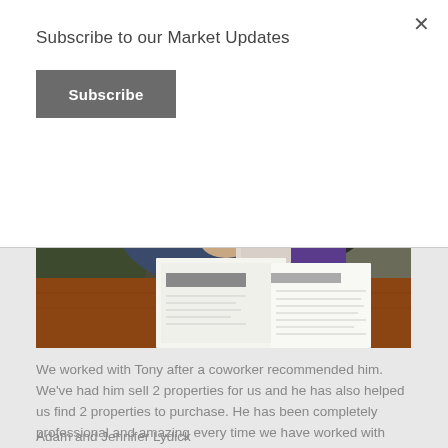Subscribe to our Market Updates
Subscribe
[Figure (photo): Photo of two people at a desk with documents/papers spread on a wooden table. One person wearing a pink shirt is holding up a large document or folder.]
We worked with Tony after a coworker recommended him. We've had him sell 2 properties for us and he has also helped us find 2 properties to purchase. He has been completely professional and amazing every time we have worked with him. I highly recommend his services!
Adam and Jennifer Lydick